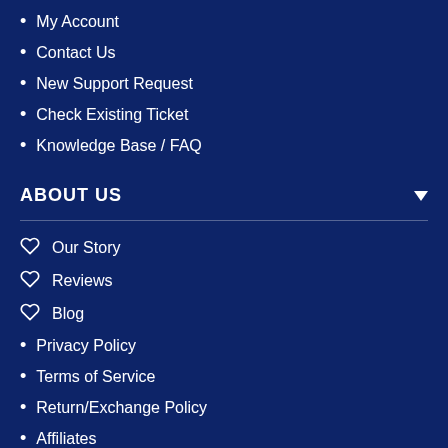My Account
Contact Us
New Support Request
Check Existing Ticket
Knowledge Base / FAQ
ABOUT US
Our Story
Reviews
Blog
Privacy Policy
Terms of Service
Return/Exchange Policy
Affiliates
Wholesale
FOLLOW US
Instagram